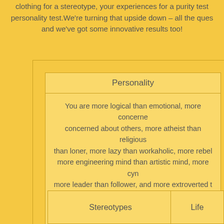clothing for a stereotype, your experiences for a purity test personality test. We're turning that upside down – all the questions and we've got some innovative results too!
Personality
You are more logical than emotional, more concerned about others, more atheist than religious than loner, more lazy than workaholic, more rebel more engineering mind than artistic mind, more cyn more leader than follower, and more extroverted th
As for specific personality traits, you are adventu adventurous (95%), greedy (77%), romanti
Stereotypes
Life